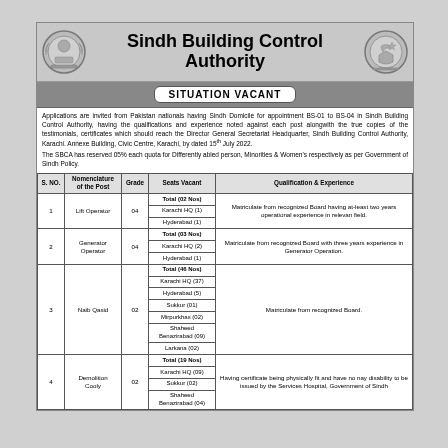Sindh Building Control Authority
SITUATION VACANT
Applications are invited from Pakistan nationals having Sindh Domicile for appointment BS-01 to BS-04 in Sindh Building Control Authority, having the qualifications and experience noted against each post alongwith the true copies of the testimonials, certificates which should reach the Director General Secretariat Headquarter, Sindh Building Control Authority, Karachi. Annexe Building, Civic Centre, Karachi, by dated 15th July 2022.
The SBCA has reserved 05% each quota for Differently abled person, Minorities & Women's respectively as per Government of Sindh Policy.
| S. NO. | Nomenclature of the Post | Grade | Seats Vacant | Qualification & Experience |
| --- | --- | --- | --- | --- |
| 1 | Lift Operator | 04 | Total (02 Nos)
Karachi HQ (1)
Hyderabad (1) | Matriculate from recognized Board having at-least two years operational experience in relevan field. |
| 2 | Generator Operator | 04 | Total (03 Nos)
Karachi HQ (2)
Hyderabad (1) | Matriculate from recognized Board with three years experience in Generator Operation. |
| 3 | Naib Qasid | 02 | Total (46 Nos)
Karachi HQ (37)
Hyderabad (5)
Sukkur (01)
Mirpurkhas (02)
Shaheed Benazirabad (09)
Larkana (02) | Matriculate from recognized Board. |
| 4 | Demolition Cooly | 02 | Total (19 Nos)
Karachi HQ (09)
Sukkur (02)
Shaheed Benazirabad (04) | Having certificate being physically fit and have no nay disability to be issued by the Services Hospital, Government of Sindh |